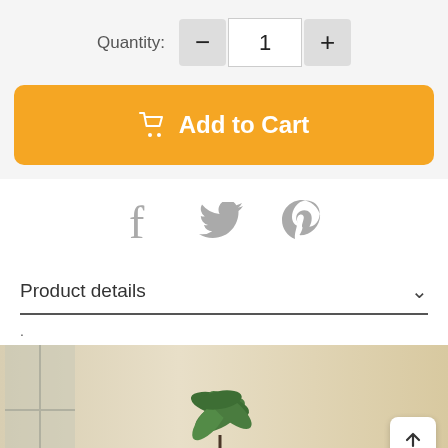Quantity: - 1 +
Add to Cart
[Figure (other): Social share icons: Facebook, Twitter, Pinterest]
Product details
.
[Figure (photo): Indoor room scene with a green potted plant on a surface near a window with natural light, warm beige walls]